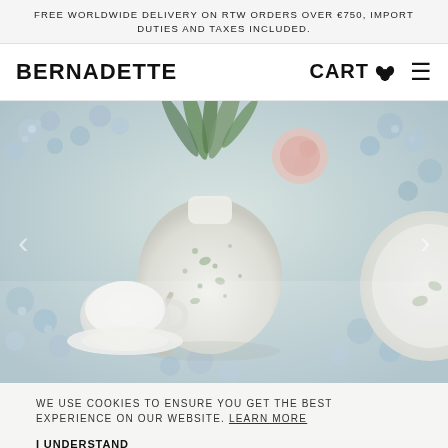FREE WORLDWIDE DELIVERY ON RTW ORDERS OVER €750, IMPORT DUTIES AND TAXES INCLUDED.
BERNADETTE
CART
[Figure (photo): Overhead/top-down lifestyle photo of floral-patterned tableware and ceramics including a white speckled vase with green floral motifs holding green foliage and a pink flower, a white cup and saucer with spoon, and a white plate, all arranged on a blue hydrangea-patterned tablecloth or surface.]
WE USE COOKIES TO ENSURE YOU GET THE BEST EXPERIENCE ON OUR WEBSITE. LEARN MORE
I UNDERSTAND